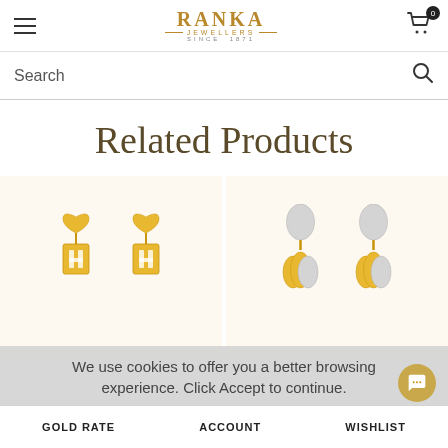RANKA JEWELLERS SINCE 1871
Search
Related Products
[Figure (photo): Two gold heart-shaped drop earrings with square pendant charm on cream background]
[Figure (photo): Two gold oval drop earrings with pumpkin-shaped multi-tone pendant on cream background]
We use cookies to offer you a better browsing experience. Click Accept to continue.
GOLD RATE   ACCOUNT   WISHLIST